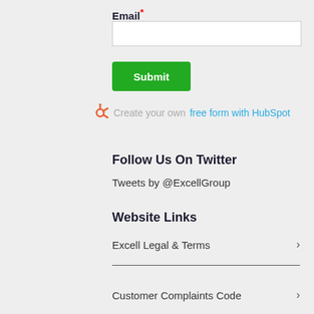Email*
[Figure (other): Email input text field, white background with border]
Submit
Create your own free form with HubSpot
Follow Us On Twitter
Tweets by @ExcellGroup
Website Links
Excell Legal & Terms
Customer Complaints Code